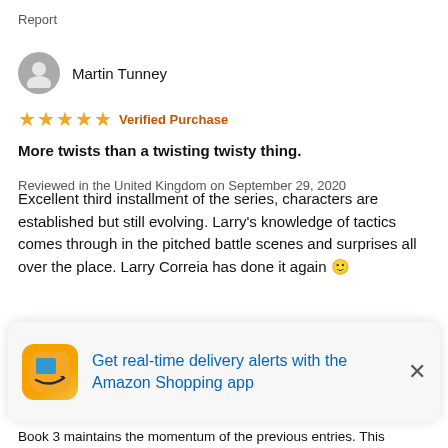Report
Martin Tunney
★★★★★ Verified Purchase
More twists than a twisting twisty thing.
Reviewed in the United Kingdom on September 29, 2020
Excellent third installment of the series, characters are established but still evolving. Larry's knowledge of tactics comes through in the pitched battle scenes and surprises all over the place. Larry Correia has done it again 🙂
Report
Scott Osmond
Get real-time delivery alerts with the Amazon Shopping app
Book 3 maintains the momentum of the previous entries. This